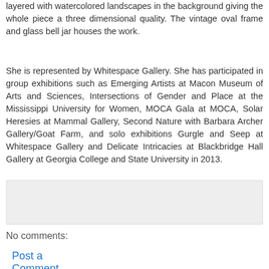layered with watercolored landscapes in the background giving the whole piece a three dimensional quality. The vintage oval frame and glass bell jar houses the work.
She is represented by Whitespace Gallery. She has participated in group exhibitions such as Emerging Artists at Macon Museum of Arts and Sciences, Intersections of Gender and Place at the Mississippi University for Women, MOCA Gala at MOCA, Solar Heresies at Mammal Gallery, Second Nature with Barbara Archer Gallery/Goat Farm, and solo exhibitions Gurgle and Seep at Whitespace Gallery and Delicate Intricacies at Blackbridge Hall Gallery at Georgia College and State University in 2013.
[Figure (other): Light gray empty box, likely a comment input area or placeholder]
No comments:
Post a Comment